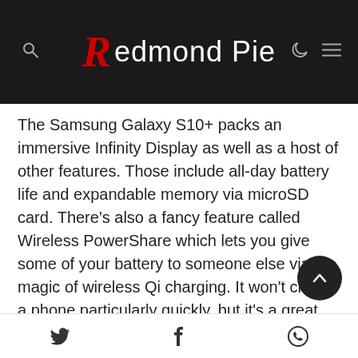Redmond Pie
The Samsung Galaxy S10+ packs an immersive Infinity Display as well as a host of other features. Those include all-day battery life and expandable memory via microSD card. There's also a fancy feature called Wireless PowerShare which lets you give some of your battery to someone else via the magic of wireless Qi charging. It won't charge a phone particularly quickly, but it's a great tool to have in a pinch.
Twitter, Facebook, WhatsApp social share icons